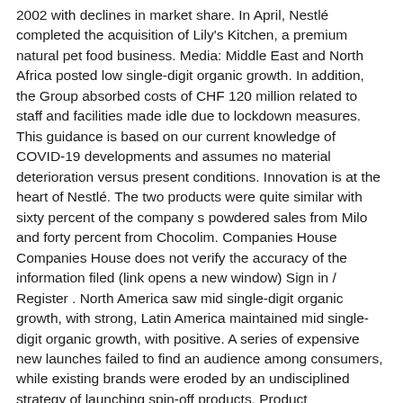2002 with declines in market share. In April, Nestlé completed the acquisition of Lily's Kitchen, a premium natural pet food business. Media: Middle East and North Africa posted low single-digit organic growth. In addition, the Group absorbed costs of CHF 120 million related to staff and facilities made idle due to lockdown measures. This guidance is based on our current knowledge of COVID-19 developments and assumes no material deterioration versus present conditions. Innovation is at the heart of Nestlé. The two products were quite similar with sixty percent of the company s powdered sales from Milo and forty percent from Chocolim. Companies House Companies House does not verify the accuracy of the information filed (link opens a new window) Sign in / Register . North America saw mid single-digit organic growth, with strong, Latin America maintained mid single-digit organic growth, with positive. A series of expensive new launches failed to find an audience among consumers, while existing brands were eroded by an undisciplined strategy of launching spin-off products. Product reformulation, portion sizing, and consumer messaging are among the key areas of focus of the leading players. Learn about Nestlé's brands and what we're doing to make our products tastier and healthier. Lily's Kitchen, the newly acquired premium pet food business, also performed strongly. Commodity inflation and COVID-19